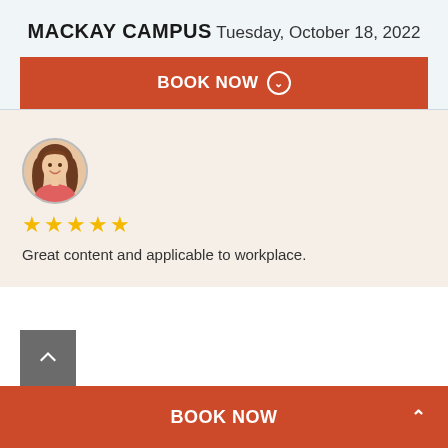MACKAY CAMPUS
Tuesday, October 18, 2022
BOOK NOW
[Figure (photo): Circular avatar photo of a woman with long brown hair, smiling, wearing a pink top]
★★★★★ (5 stars rating)
Great content and applicable to workplace.
BOOK NOW